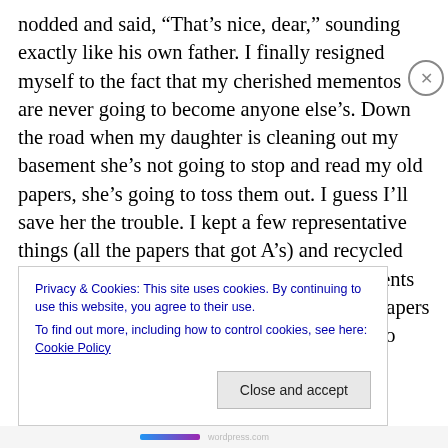nodded and said, “That’s nice, dear,” sounding exactly like his own father. I finally resigned myself to the fact that my cherished mementos are never going to become anyone else’s. Down the road when my daughter is cleaning out my basement she’s not going to stop and read my old papers, she’s going to toss them out. I guess I’ll save her the trouble. I kept a few representative things (all the papers that got A’s) and recycled the rest. I’ll have to remember to tell my parents that if they come across any of their school papers while they’re cleaning they should feel free to throw them out.
Privacy & Cookies: This site uses cookies. By continuing to use this website, you agree to their use.
To find out more, including how to control cookies, see here: Cookie Policy